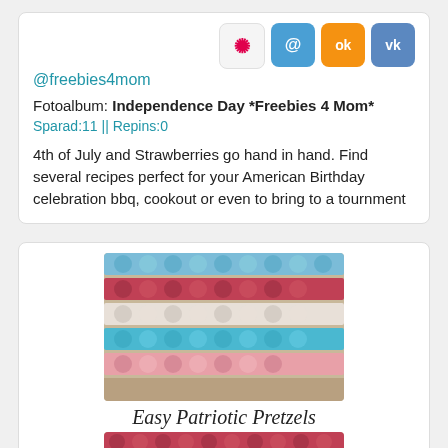@freebies4mom
Fotoalbum: Independence Day *Freebies 4 Mom*
Sparad:11 || Repins:0
4th of July and Strawberries go hand in hand. Find several recipes perfect for your American Birthday celebration bbq, cookout or even to bring to a tournment
[Figure (photo): Photo of colorful patriotic pretzels dipped in red, white, and blue chocolate, arranged in rows. Text overlay reads 'Easy Patriotic Pretzels'. A second similar photo is shown below.]